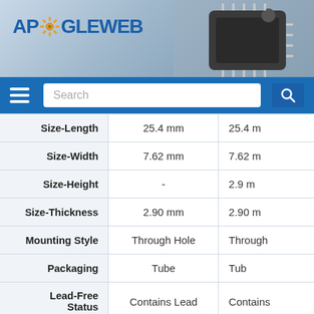[Figure (screenshot): ApogeWeb website header with logo on gray-blue gradient background and chip image on right]
[Figure (screenshot): Blue navigation bar with hamburger menu, search box, and search button]
| Property | Value 1 | Value 2 |
| --- | --- | --- |
| Size-Length | 25.4 mm | 25.4 m |
| Size-Width | 7.62 mm | 7.62 m |
| Size-Height | - | 2.9 m |
| Size-Thickness | 2.90 mm | 2.90 m |
| Mounting Style | Through Hole | Through |
| Packaging | Tube | Tub |
| Lead-Free Status | Contains Lead | Contains |
| RoHS | Non-Compliant | Non-Con |